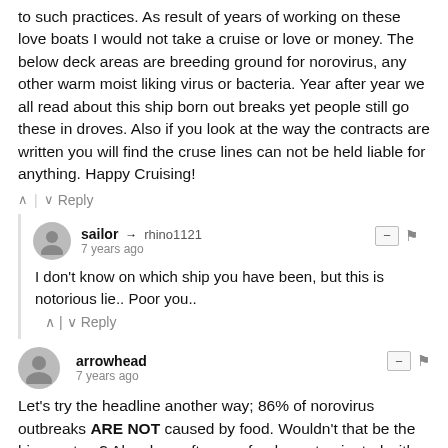to such practices. As result of years of working on these love boats I would not take a cruise or love or money. The below deck areas are breeding ground for norovirus, any other warm moist liking virus or bacteria. Year after year we all read about this ship born out breaks yet people still go these in droves. Also if you look at the way the contracts are written you will find the cruse lines can not be held liable for anything. Happy Cruising!
^ | ∨  Reply
sailor → rhino1121
7 years ago
I don't know on which ship you have been, but this is notorious lie.. Poor you..
^ | ∨  Reply
arrowhead
7 years ago
Let's try the headline another way; 86% of norovirus outbreaks ARE NOT caused by food. Wouldn't that be the bigger story? Also, how often are foods contaminated with norovirus by infected food handlers? This to usually be basic information...